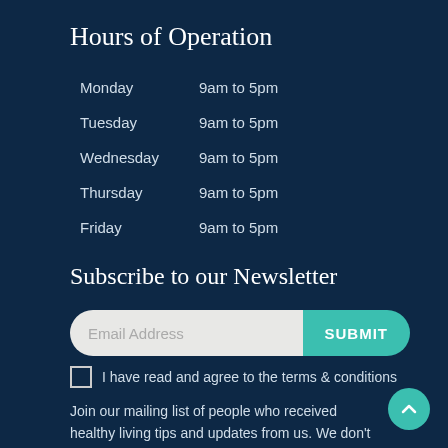Hours of Operation
| Day | Hours |
| --- | --- |
| Monday | 9am to 5pm |
| Tuesday | 9am to 5pm |
| Wednesday | 9am to 5pm |
| Thursday | 9am to 5pm |
| Friday | 9am to 5pm |
Subscribe to our Newsletter
[Figure (other): Email address input field with SUBMIT button, styled as a pill/rounded rectangle. Left side is a light grey input with placeholder 'Email Address', right side is a teal button with text 'SUBMIT'.]
I have read and agree to the terms & conditions
Join our mailing list of people who received healthy living tips and updates from us. We don't send spam